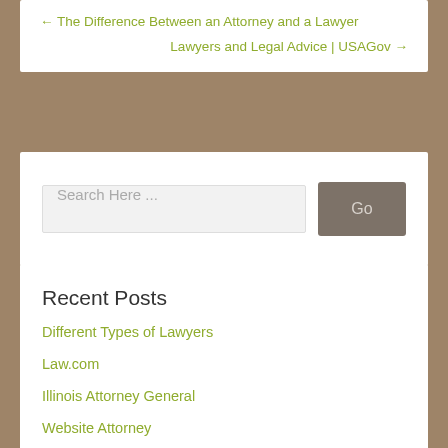← The Difference Between an Attorney and a Lawyer
Lawyers and Legal Advice | USAGov →
Search Here ...
Recent Posts
Different Types of Lawyers
Law.com
Illinois Attorney General
Website Attorney
The Legal Aid Society: Justice in Every Borough